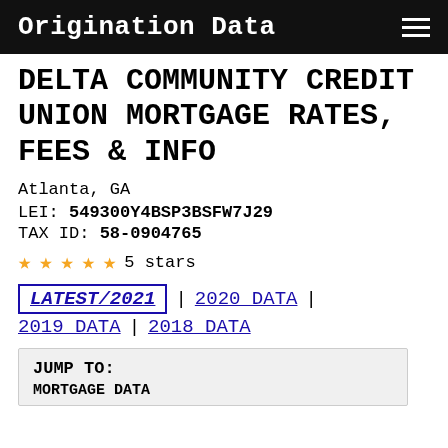Origination Data
DELTA COMMUNITY CREDIT UNION MORTGAGE RATES, FEES & INFO
Atlanta, GA
LEI: 549300Y4BSP3BSFW7J29
TAX ID: 58-0904765
5 stars
LATEST/2021 | 2020 DATA | 2019 DATA | 2018 DATA
JUMP TO:
MORTGAGE DATA